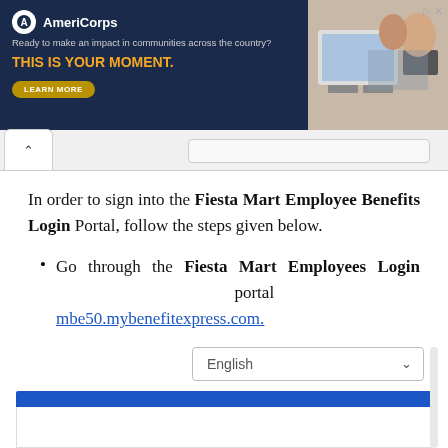[Figure (screenshot): AmeriCorps advertisement banner with dark navy background, logo, tagline 'Ready to make an impact in communities across the country?', headline 'THIS IS YOUR MOMENT.', LEARN MORE button, and photo of students at computers on the right.]
[Figure (screenshot): Browser tab bar showing a back caret tab and a URL bar at top.]
In order to sign into the Fiesta Mart Employee Benefits Login Portal, follow the steps given below.
Go through the Fiesta Mart Employees Login portal mbe50.mybenefitexpress.com.
[Figure (screenshot): Bottom portion of webpage showing a language selector dropdown set to 'English' with a chevron, a scrollbar on the right, and the top of a blue-headered portal login form.]